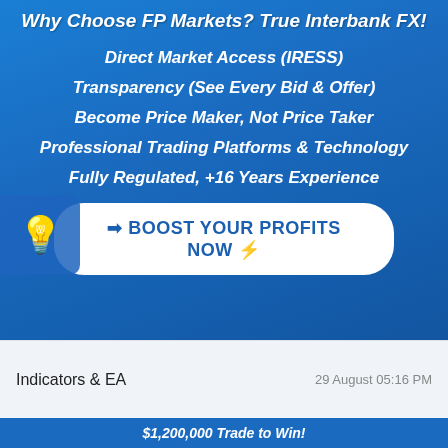Why Choose FP Markets? True Interbank FX!
Direct Market Access (IRESS)
Transparency (See Every Bid & Offer)
Become Price Maker, Not Price Taker
Professional Trading Platforms & Technology
Fully Regulated, +16 Years Experience
➡ BOOST YOUR PROFITS NOW ⚡
Indicators & EA
29 August 05:16 PM
$1,200,000 Trade to Win!